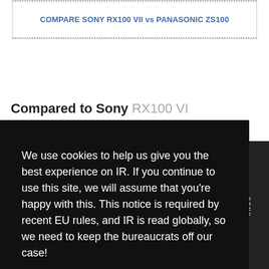COMPARE SONY RX100 VII vs PANASONIC ZS100
Compared to Sony RX100 VI
We use cookies to help us give you the best experience on IR. If you continue to use this site, we will assume that you're happy with this. This notice is required by recent EU rules, and IR is read globally, so we need to keep the bureaucrats off our case!
Learn more
Got it!
[Figure (photo): Partial view of a Sony camera body on the right side]
LESS EXPENSIVE
MOTION